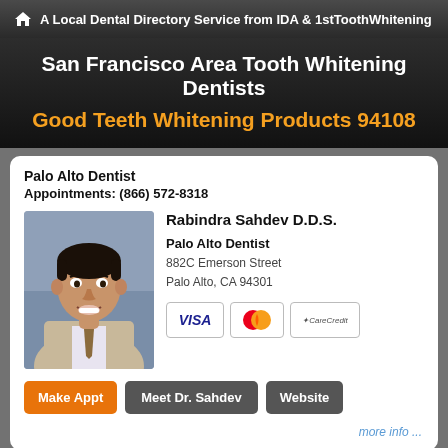A Local Dental Directory Service from IDA & 1stToothWhitening
San Francisco Area Tooth Whitening Dentists
Good Teeth Whitening Products 94108
Palo Alto Dentist
Appointments: (866) 572-8318
[Figure (photo): Headshot photo of Dr. Rabindra Sahdev, a male dentist smiling, wearing a suit and tie, against a blue-grey background]
Rabindra Sahdev D.D.S.
Palo Alto Dentist
882C Emerson Street
Palo Alto, CA 94301
[Figure (other): Payment method logos: VISA, MasterCard, CareCredit]
Make Appt
Meet Dr. Sahdev
Website
more info ...